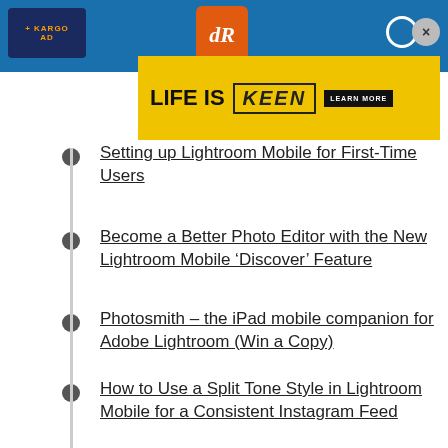[Figure (screenshot): Top blue navigation bar with Kargo logo on left, dR logo in center, search and close icons on right]
[Figure (illustration): Advertisement banner: LIFE IS KEEN - LEARN MORE on yellow background]
Setting up Lightroom Mobile for First-Time Users
Become a Better Photo Editor with the New Lightroom Mobile ‘Discover’ Feature
Photosmith – the iPad mobile companion for Adobe Lightroom (Win a Copy)
How to Use a Split Tone Style in Lightroom Mobile for a Consistent Instagram Feed
6 Great and Free Photo Editing Apps on the OnePlus Phone and Android
Tilt-Shift Apps for the iPhone
How to Sync Your Develop Presets to